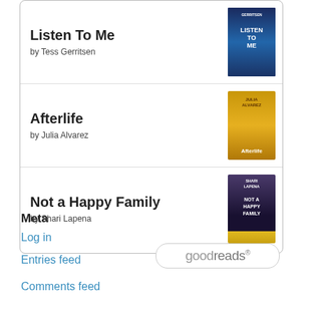Listen To Me by Tess Gerritsen
Afterlife by Julia Alvarez
Not a Happy Family by Shari Lapena
[Figure (logo): Goodreads logo badge]
Meta
Log in
Entries feed
Comments feed